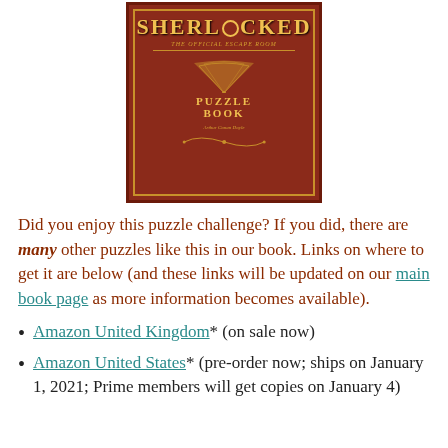[Figure (illustration): Book cover of 'Sherlocked: The Official Escape Room Puzzle Book' with ornate dark red and gold Victorian-style design]
Did you enjoy this puzzle challenge? If you did, there are many other puzzles like this in our book. Links on where to get it are below (and these links will be updated on our main book page as more information becomes available).
Amazon United Kingdom* (on sale now)
Amazon United States* (pre-order now; ships on January 1, 2021; Prime members will get copies on January 4)